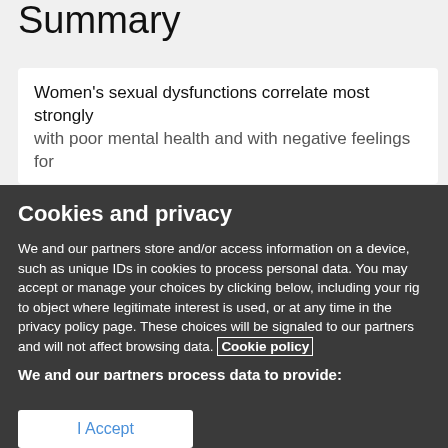Summary
Women's sexual dysfunctions correlate most strongly with poor mental health and with negative feelings for
Cookies and privacy
We and our partners store and/or access information on a device, such as unique IDs in cookies to process personal data. You may accept or manage your choices by clicking below, including your rig to object where legitimate interest is used, or at any time in the privacy policy page. These choices will be signaled to our partners and will not affect browsing data. Cookie policy
We and our partners process data to provide:
Store and/or access information on a device, Personalised ads and content, ad and content measurement, audience insights and produ development, Use precise geolocation data, Actively scan device characteristics for identification
List of Partners (vendors)
I Accept